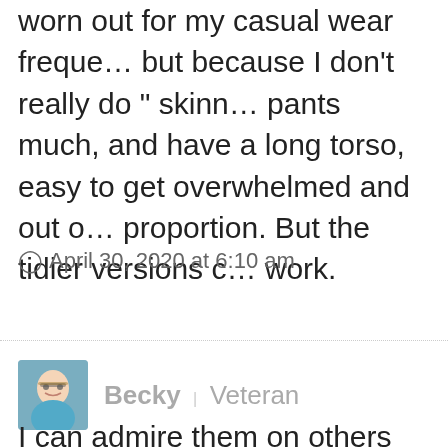worn out for my casual wear freque... but because I don't really do “ skinn... pants much, and have a long torso, easy to get overwhelmed and out of proportion. But the tidier versions c... work.
◎ April 30, 2020 at 6:10 am
[Figure (photo): Avatar photo of user Becky, a woman with glasses and a blue top]
Becky | Veteran
I can admire them on others when...